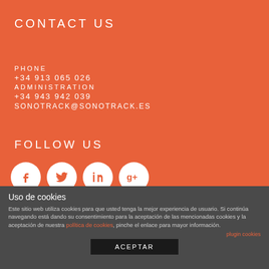CONTACT US
PHONE
+34 913 065 026
ADMINISTRATION
+34 943 942 039
SONOTRACK@SONOTRACK.ES
FOLLOW US
[Figure (illustration): Social media icons: Facebook, Twitter, LinkedIn, Google+]
Uso de cookies
Este sitio web utiliza cookies para que usted tenga la mejor experiencia de usuario. Si continúa navegando está dando su consentimiento para la aceptación de las mencionadas cookies y la aceptación de nuestra política de cookies, pinche el enlace para mayor información.
plugin cookies
ACEPTAR